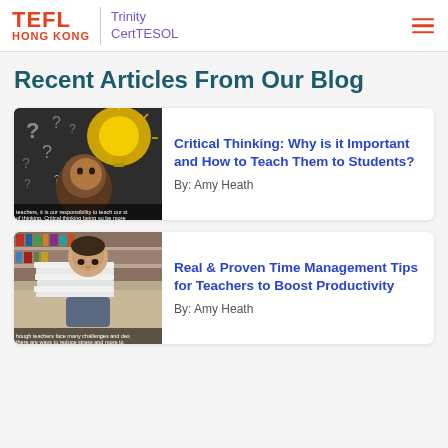TEFL HONG KONG | Trinity CertTESOL
Recent Articles From Our Blog
[Figure (photo): Child looking up at a glowing light bulb surrounded by question marks on a chalkboard background, with text overlay about critical thinking]
Critical Thinking: Why is it Important and How to Teach Them to Students?
By: Amy Heath
[Figure (photo): Person hiding behind a large stack of papers/documents, with bookshelves in background, text overlay about teachers challenges]
Real & Proven Time Management Tips for Teachers to Boost Productivity
By: Amy Heath